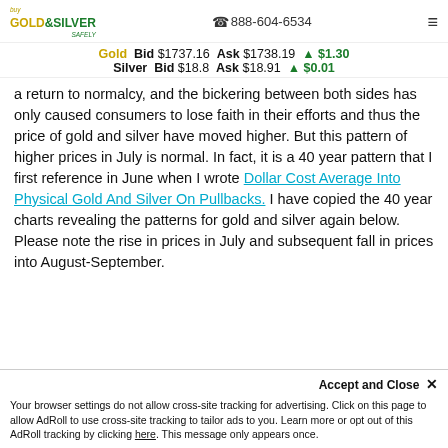Buy Gold & Silver Safely | ☎ 888-604-6534
Gold Bid $1737.16 Ask $1738.19 ▲ $1.30
Silver Bid $18.8 Ask $18.91 ▲ $0.01
a return to normalcy, and the bickering between both sides has only caused consumers to lose faith in their efforts and thus the price of gold and silver have moved higher. But this pattern of higher prices in July is normal. In fact, it is a 40 year pattern that I first reference in June when I wrote Dollar Cost Average Into Physical Gold And Silver On Pullbacks. I have copied the 40 year charts revealing the patterns for gold and silver again below. Please note the rise in prices in July and subsequent fall in prices into August-September.
Accept and Close ✕
Your browser settings do not allow cross-site tracking for advertising. Click on this page to allow AdRoll to use cross-site tracking to tailor ads to you. Learn more or opt out of this AdRoll tracking by clicking here. This message only appears once.